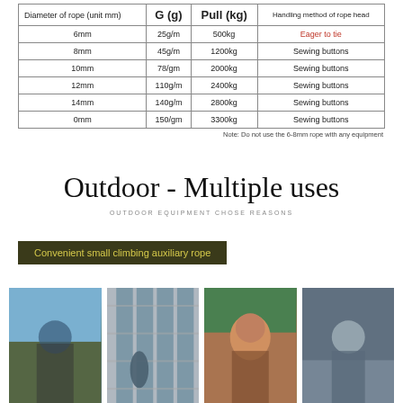| Diameter of rope (unit mm) | G (g) | Pull (kg) | Handling method of rope head |
| --- | --- | --- | --- |
| 6mm | 25g/m | 500kg | Eager to tie |
| 8mm | 45g/m | 1200kg | Sewing buttons |
| 10mm | 78/gm | 2000kg | Sewing buttons |
| 12mm | 110g/m | 2400kg | Sewing buttons |
| 14mm | 140g/m | 2800kg | Sewing buttons |
| 0mm | 150/gm | 3300kg | Sewing buttons |
Note: Do not use the 6-8mm rope with any equipment
Outdoor - Multiple uses
OUTDOOR EQUIPMENT CHOSE REASONS
Convenient small climbing auxiliary rope
[Figure (photo): Four outdoor activity photos showing climbing, building window cleaning, outdoor adventure, and landscape.]